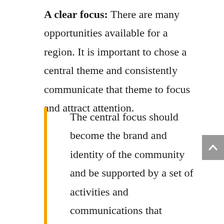A clear focus: There are many opportunities available for a region. It is important to chose a central theme and consistently communicate that theme to focus and attract attention.
The central focus should become the brand and identity of the community and be supported by a set of activities and communications that undergird this direction. The focus can and should include logos and other communication vehicles to avoid confusion with other